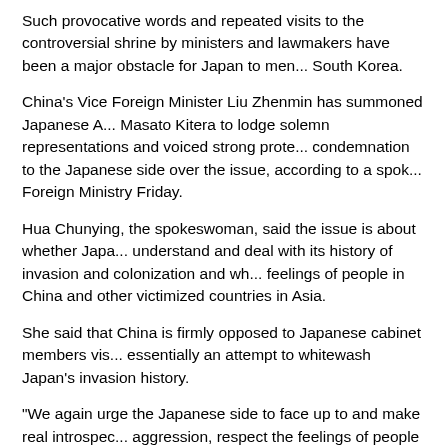Such provocative words and repeated visits to the controversial shrine by ministers and lawmakers have been a major obstacle for Japan to men... South Korea.
China's Vice Foreign Minister Liu Zhenmin has summoned Japanese A... Masato Kitera to lodge solemn representations and voiced strong prote... condemnation to the Japanese side over the issue, according to a spok... Foreign Ministry Friday.
Hua Chunying, the spokeswoman, said the issue is about whether Japa... understand and deal with its history of invasion and colonization and wh... feelings of people in China and other victimized countries in Asia.
She said that China is firmly opposed to Japanese cabinet members vis... essentially an attempt to whitewash Japan's invasion history.
"We again urge the Japanese side to face up to and make real introspec... aggression, respect the feelings of people in war-victim Asian countries... properly deal with relevant issues," Hua said on Thursday, responding t...
Meanwhile, South Korean officials also blasted Abe for yet another inco... at the controversial shrine.
Jen Psaki, U.S. State Department spokeswoman, on Friday urged Japa... with its neighbors in connection with the visits to the Yasukuni Shrine, a... been encouraging Japan to "continue to work with its neighbors to reso... in an amicable way, through dialogue. "